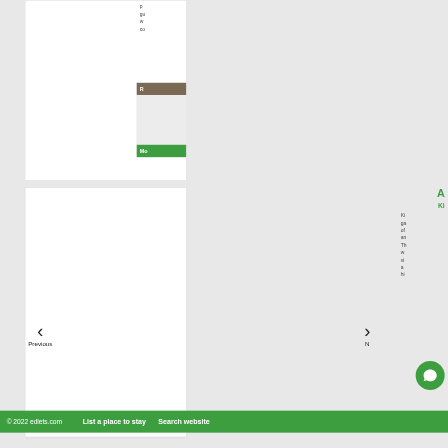[Figure (screenshot): Top portion of a property listing card showing partial right-column text about a property, with an olive-colored button labeled 'R', a gray box, and a green 'Mo' button]
[Figure (screenshot): Second property listing card showing a large green 'A' title, green 'K' subtitle, and descriptive text about a property with navigation arrows (Previous / Next) and a green chat bubble icon]
© 2022 edlets.com   List a place to stay   Search website